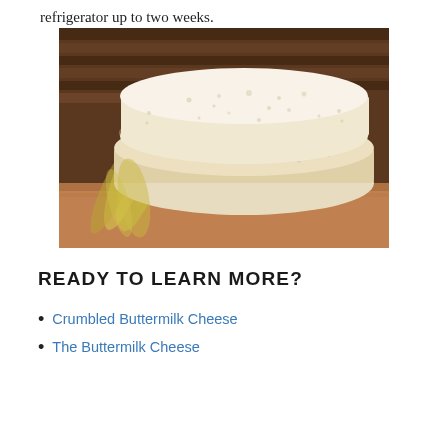refrigerator up to two weeks.
[Figure (photo): Two round white cheese wheels stacked on each other with corn husks/leaves, placed on a wooden surface with dark striped background]
READY TO LEARN MORE?
Crumbled Buttermilk Cheese
The Buttermilk Cheese